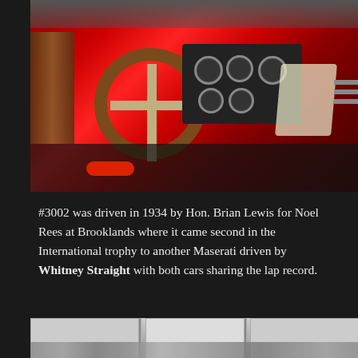[Figure (photo): Close-up photograph of a vintage red racing car (Maserati #3002), showing the wooden steering wheel with cross spokes, dashboard gauges, and bright red bodywork]
#3002 was driven in 1934 by Hon. Brian Lewis for Noel Rees at Brooklands where it came second in the International trophy to another Maserati driven by Whitney Straight with both cars sharing the lap record.
[Figure (photo): Partial bottom photograph showing a building exterior with glass panels and a crowd of people]